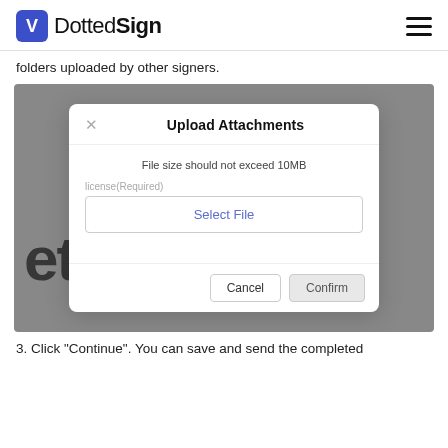DottedSign
folders uploaded by other signers.
[Figure (screenshot): Screenshot of DottedSign Upload Attachments modal dialog with 'File size should not exceed 10MB' notice, a 'license(Required)' field with 'Select File' button, and Cancel/Confirm buttons. Background shows partial large text 'eta'.]
3. Click "Continue". You can save and send the completed